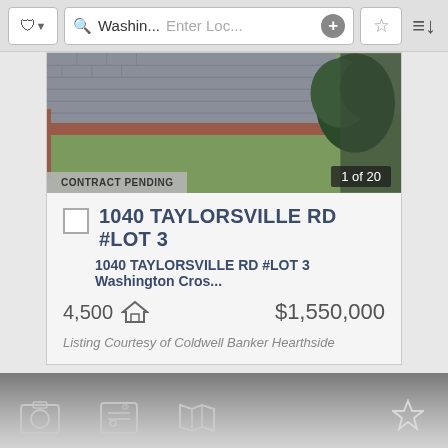Washin... | Enter Loc...
[Figure (photo): Aerial/overhead photo of a paved brick area with grass border and a plant/shrub in the corner]
CONTRACT PENDING
1 of 20
1040 TAYLORSVILLE RD #LOT 3
1040 TAYLORSVILLE RD #LOT 3 Washington Cros...
4,500
$1,550,000
Listing Courtesy of Coldwell Banker Hearthside
[Figure (screenshot): Bottom navigation toolbar with photo, contact, map, and star/favorite icons on a gray gradient background]